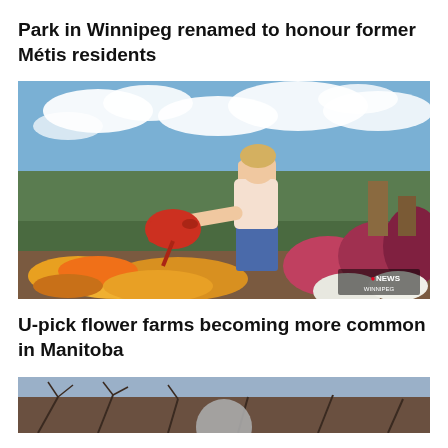Park in Winnipeg renamed to honour former Métis residents
[Figure (photo): Woman watering flowers in a garden/farm with orange and yellow marigolds and pink flowers, holding a red watering can, with fields and cloudy sky in background. CBC News Winnipeg watermark visible.]
U-pick flower farms becoming more common in Manitoba
[Figure (photo): Partial photo showing outdoor scene, cropped at bottom of page.]